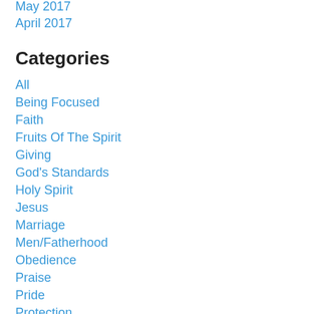May 2017
April 2017
Categories
All
Being Focused
Faith
Fruits Of The Spirit
Giving
God's Standards
Holy Spirit
Jesus
Marriage
Men/Fatherhood
Obedience
Praise
Pride
Protection
Provision
Purpose/mission
Relationships